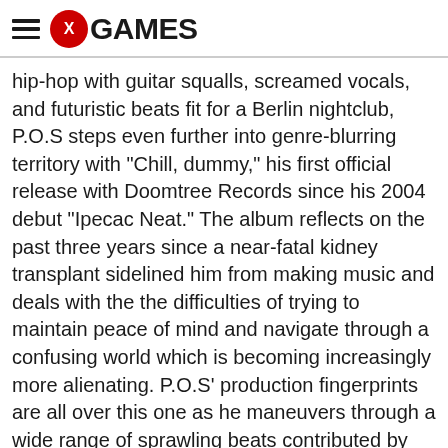X GAMES
hip-hop with guitar squalls, screamed vocals, and futuristic beats fit for a Berlin nightclub, P.O.S steps even further into genre-blurring territory with "Chill, dummy," his first official release with Doomtree Records since his 2004 debut "Ipecac Neat." The album reflects on the past three years since a near-fatal kidney transplant sidelined him from making music and deals with the the difficulties of trying to maintain peace of mind and navigate through a confusing world which is becoming increasingly more alienating. P.O.S' production fingerprints are all over this one as he maneuvers through a wide range of sprawling beats contributed by himself, usual suspects Lazerbeak and Ryan Olson, and newcomers Cory Grindberg and Makr. But the album never suffers from an over saturation of scattered voices, instead using everyone's individual ethos and strengths to build a unifying call to arms. The result is P.O.S' most